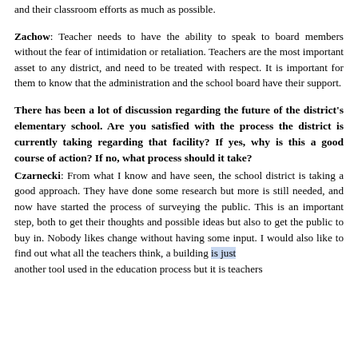and their classroom efforts as much as possible.
Zachow: Teacher needs to have the ability to speak to board members without the fear of intimidation or retaliation. Teachers are the most important asset to any district, and need to be treated with respect. It is important for them to know that the administration and the school board have their support.
There has been a lot of discussion regarding the future of the district's elementary school. Are you satisfied with the process the district is currently taking regarding that facility? If yes, why is this a good course of action? If no, what process should it take?
Czarnecki: From what I know and have seen, the school district is taking a good approach. They have done some research but more is still needed, and now have started the process of surveying the public. This is an important step, both to get their thoughts and possible ideas but also to get the public to buy in. Nobody likes change without having some input. I would also like to find out what all the teachers think, a building is just another tool used in the education process but it is teachers